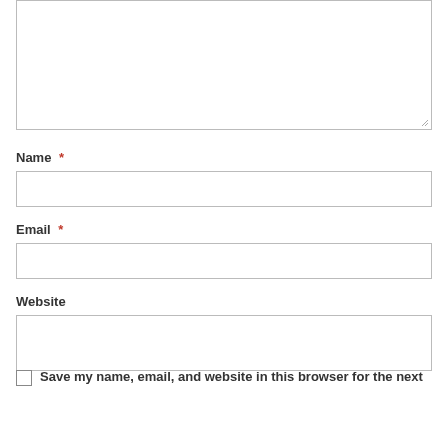[Figure (other): Empty textarea form field with resize handle at bottom-right]
Name *
[Figure (other): Empty text input field for Name]
Email *
[Figure (other): Empty text input field for Email]
Website
[Figure (other): Empty text input field for Website]
Save my name, email, and website in this browser for the next